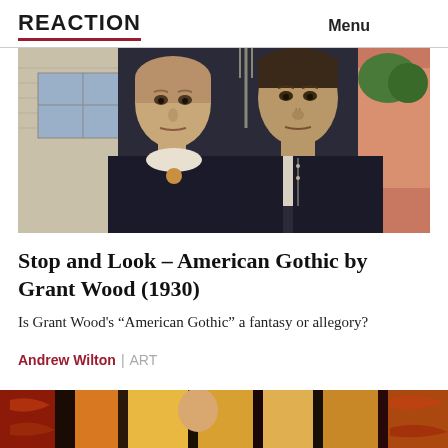REACTION  Menu
[Figure (photo): Cropped detail of Grant Wood's American Gothic (1930) painting showing a woman and man standing in front of a house, the man holding a pitchfork]
Stop and Look – American Gothic by Grant Wood (1930)
Is Grant Wood's “American Gothic” a fantasy or allegory?
Andrew Wilton | ART
[Figure (photo): Partial view of another painting at the bottom of the page, showing warm reddish-orange and tan tones]